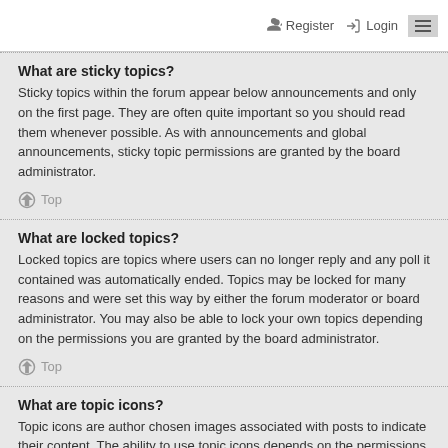Register  Login
What are sticky topics?
Sticky topics within the forum appear below announcements and only on the first page. They are often quite important so you should read them whenever possible. As with announcements and global announcements, sticky topic permissions are granted by the board administrator.
Top
What are locked topics?
Locked topics are topics where users can no longer reply and any poll it contained was automatically ended. Topics may be locked for many reasons and were set this way by either the forum moderator or board administrator. You may also be able to lock your own topics depending on the permissions you are granted by the board administrator.
Top
What are topic icons?
Topic icons are author chosen images associated with posts to indicate their content. The ability to use topic icons depends on the permissions set by the board administrator.